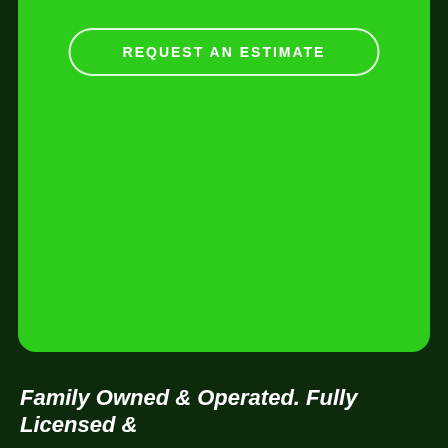[Figure (other): Large bright green rounded card/panel with a white-outlined pill-shaped button labeled REQUEST AN ESTIMATE centered near the top]
REQUEST AN ESTIMATE
Family Owned & Operated. Fully Licensed &